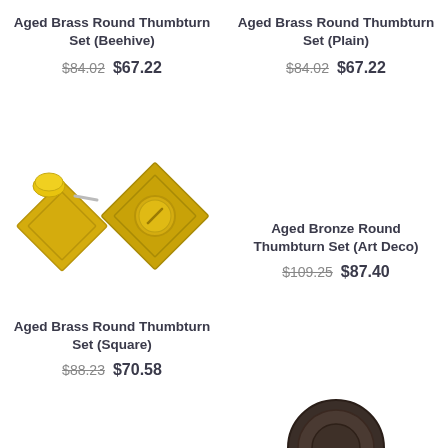Aged Brass Round Thumbturn Set (Beehive)
$84.02  $67.22
Aged Brass Round Thumbturn Set (Plain)
$84.02  $67.22
[Figure (photo): Two aged brass square thumbturn sets shown side by side on white background]
Aged Bronze Round Thumbturn Set (Art Deco)
$109.25  $87.40
Aged Brass Round Thumbturn Set (Square)
$88.23  $70.58
[Figure (photo): Partial view of a dark bronze thumbturn set at bottom of page]